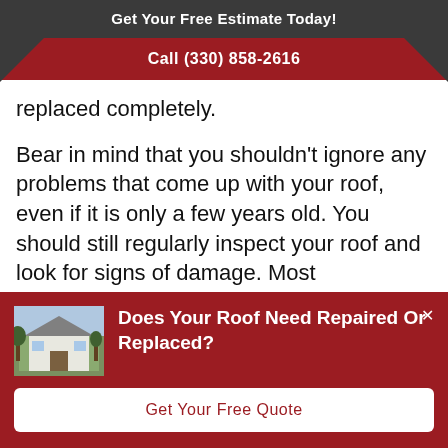Get Your Free Estimate Today!
Call (330) 858-2616
replaced completely.
Bear in mind that you shouldn't ignore any problems that come up with your roof, even if it is only a few years old. You should still regularly inspect your roof and look for signs of damage. Most
[Figure (photo): Thumbnail photo of a white house with trees]
Does Your Roof Need Repaired Or Replaced?
Get Your Free Quote